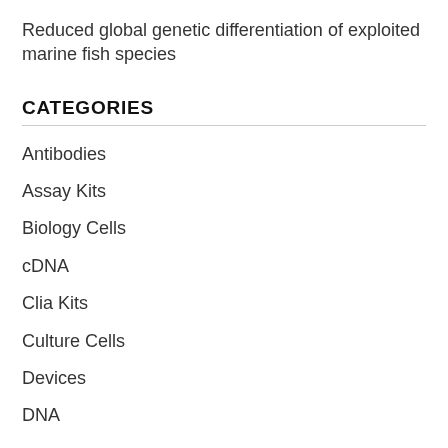Reduced global genetic differentiation of exploited marine fish species
CATEGORIES
Antibodies
Assay Kits
Biology Cells
cDNA
Clia Kits
Culture Cells
Devices
DNA